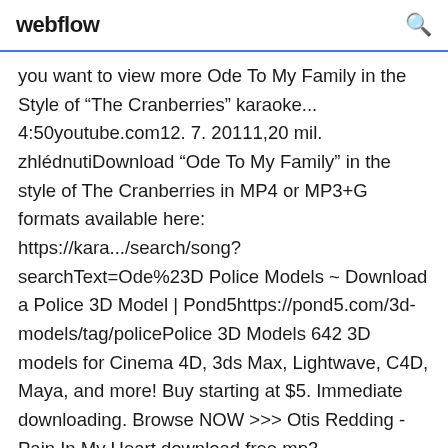webflow
you want to view more Ode To My Family in the Style of "The Cranberries" karaoke... 4:50youtube.com12. 7. 20111,20 mil. zhlédnutiDownload "Ode To My Family" in the style of The Cranberries in MP4 or MP3+G formats available here: https://kara.../search/song?searchText=Ode%23D Police Models ~ Download a Police 3D Model | Pond5https://pond5.com/3d-models/tag/policePolice 3D Models 642 3D models for Cinema 4D, 3ds Max, Lightwave, C4D, Maya, and more! Buy starting at $5. Immediate downloading. Browse NOW >>> Otis Redding - Pain In My Heart download free mp3